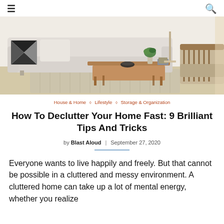≡  🔍
[Figure (photo): A bright living room with a light gray sofa, decorative black and white geometric pillows, a wooden coffee table with a bowl and plant, and a woven rug on the floor.]
House & Home ◇ Lifestyle ◇ Storage & Organization
How To Declutter Your Home Fast: 9 Brilliant Tips And Tricks
by Blast Aloud | September 27, 2020
Everyone wants to live happily and freely. But that cannot be possible in a cluttered and messy environment. A cluttered home can take up a lot of mental energy, whether you realize